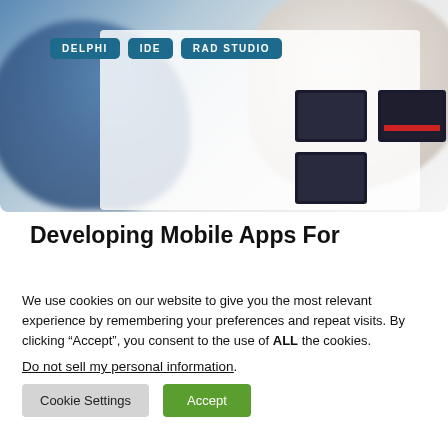[Figure (photo): Two people from behind looking at a whiteboard with UI mockup screens, with overlaid category tags DELPHI, IDE, RAD STUDIO]
Developing Mobile Apps For
We use cookies on our website to give you the most relevant experience by remembering your preferences and repeat visits. By clicking “Accept”, you consent to the use of ALL the cookies.
Do not sell my personal information.
Cookie Settings
Accept